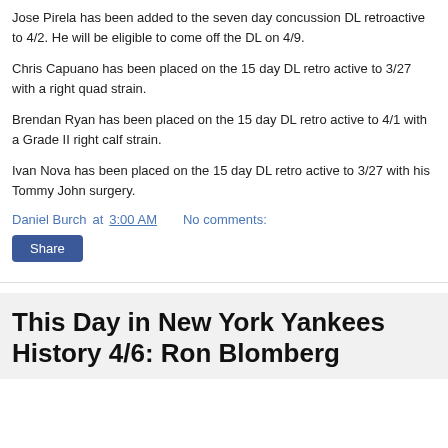Jose Pirela has been added to the seven day concussion DL retroactive to 4/2. He will be eligible to come off the DL on 4/9.
Chris Capuano has been placed on the 15 day DL retro active to 3/27 with a right quad strain.
Brendan Ryan has been placed on the 15 day DL retro active to 4/1 with a Grade II right calf strain.
Ivan Nova has been placed on the 15 day DL retro active to 3/27 with his Tommy John surgery.
Daniel Burch at 3:00 AM    No comments:
Share
This Day in New York Yankees History 4/6: Ron Blomberg